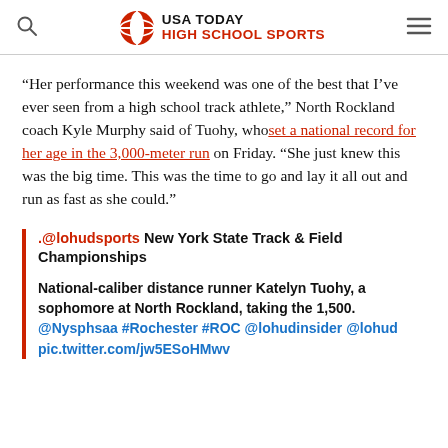USA TODAY HIGH SCHOOL SPORTS
“Her performance this weekend was one of the best that I’ve ever seen from a high school track athlete,” North Rockland coach Kyle Murphy said of Tuohy, who set a national record for her age in the 3,000-meter run on Friday. “She just knew this was the big time. This was the time to go and lay it all out and run as fast as she could.”
.@lohudsports New York State Track & Field Championships

National-caliber distance runner Katelyn Tuohy, a sophomore at North Rockland, taking the 1,500. @Nysphsaa #Rochester #ROC @lohudinsider @lohud pic.twitter.com/jw5ESoHMwv